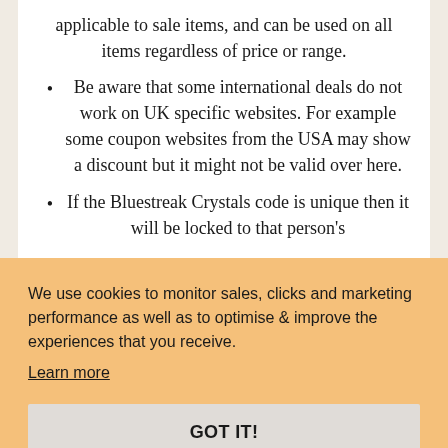applicable to sale items, and can be used on all items regardless of price or range.
Be aware that some international deals do not work on UK specific websites. For example some coupon websites from the USA may show a discount but it might not be valid over here.
If the Bluestreak Crystals code is unique then it will be locked to that person's account so it only works for them.
We use cookies to monitor sales, clicks and marketing performance as well as to optimise & improve the experiences that you receive. Learn more
GOT IT!